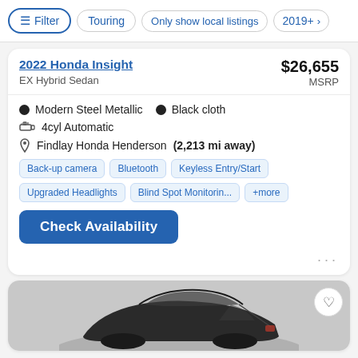Filter | Touring | Only show local listings | 2019+
2022 Honda Insight — EX Hybrid Sedan — $26,655 MSRP
Modern Steel Metallic
Black cloth
4cyl Automatic
Findlay Honda Henderson (2,213 mi away)
Back-up camera
Bluetooth
Keyless Entry/Start
Upgraded Headlights
Blind Spot Monitorin...
+more
Check Availability
[Figure (photo): Partial view of a dark grey Honda Insight sedan from rear three-quarter angle]